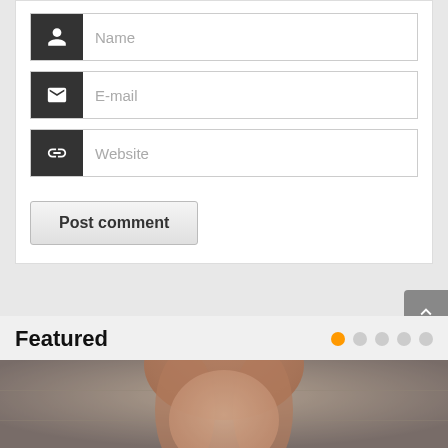[Figure (screenshot): Web form with Name, E-mail, Website input fields with dark icon boxes, and a Post comment button]
Featured
[Figure (photo): Blurred photo of a person with reddish-brown hair, partial view]